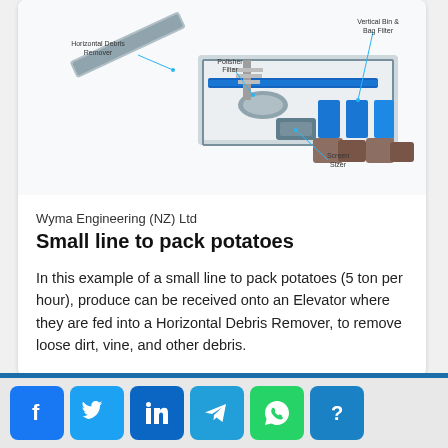[Figure (engineering-diagram): Industrial potato packing line diagram showing labeled components: Horizontal Debris Remover, Polisher Filter, Vertical Bin & Bag Filter, Screen Sizer — an overhead perspective view of conveyor and processing equipment]
Wyma Engineering (NZ) Ltd
Small line to pack potatoes
In this example of a small line to pack potatoes (5 ton per hour), produce can be received onto an Elevator where they are fed into a Horizontal Debris Remover, to remove loose dirt, vine, and other debris.